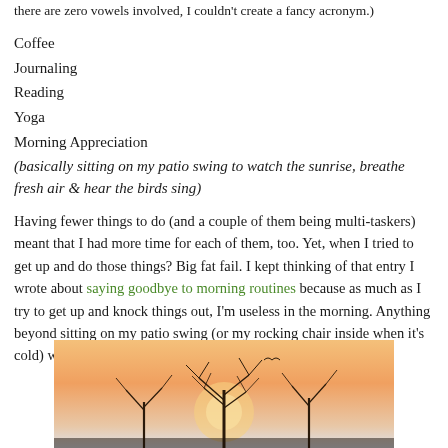there are zero vowels involved, I couldn’t create a fancy acronym.)
Coffee
Journaling
Reading
Yoga
Morning Appreciation
(basically sitting on my patio swing to watch the sunrise, breathe fresh air & hear the birds sing)
Having fewer things to do (and a couple of them being multi-taskers) meant that I had more time for each of them, too. Yet, when I tried to get up and do those things? Big fat fail. I kept thinking of that entry I wrote about saying goodbye to morning routines because as much as I try to get up and knock things out, I'm useless in the morning. Anything beyond sitting on my patio swing (or my rocking chair inside when it's cold) with a mug of hot coffee and a book is going to fail.
[Figure (photo): A warm sunrise sky with bare tree branches silhouetted against orange and pink hues]